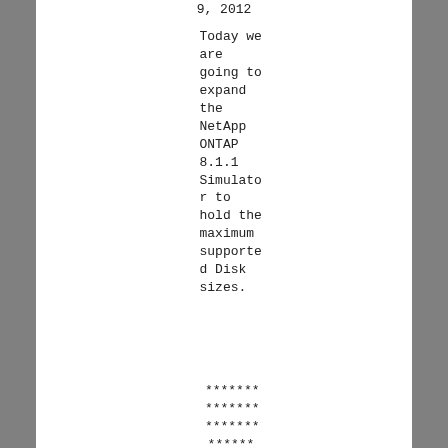9, 2012
Today we are going to expand the NetApp ONTAP 8.1.1 Simulator to hold the maximum supported Disk sizes.
*******
*******
*******
******